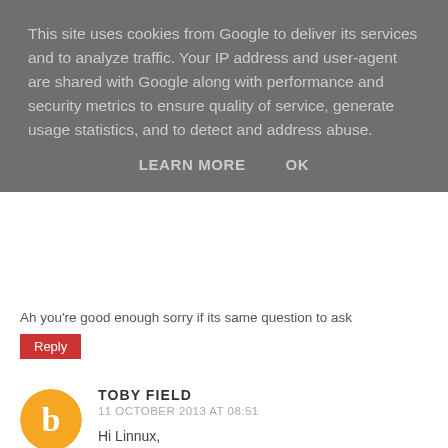This site uses cookies from Google to deliver its services and to analyze traffic. Your IP address and user-agent are shared with Google along with performance and security metrics to ensure quality of service, generate usage statistics, and to detect and address abuse.
LEARN MORE    OK
Ah you're good enough sorry if its same question to ask
Reply
TOBY FIELD
11 OCTOBER 2013 AT 08:51
Hi Linnux,

Good question. There's a few reason's why. Firstly, you can never have too many bikes. Secondly, it's always best to have the right bike for the specific type of riding you're doing. Thirdly, it helps keep the cycling exciting, something that's important when you ride the same journey hundreds of times a year.